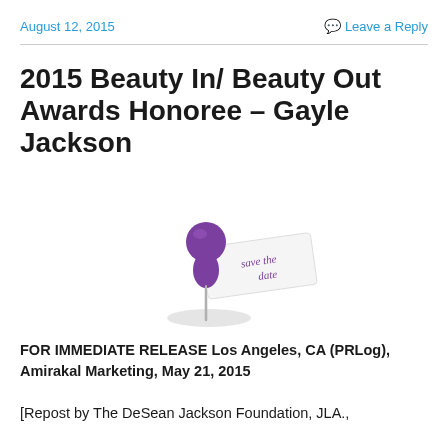August 12, 2015   Leave a Reply
2015 Beauty In/ Beauty Out Awards Honoree – Gayle Jackson
[Figure (illustration): A purple thumbtack pinning a 'save the date' note card, shown at an angle with a shadow beneath it.]
FOR IMMEDIATE RELEASE Los Angeles, CA (PRLog), Amirakal Marketing, May 21, 2015
[Repost by The DeSean Jackson Foundation, JLA.,